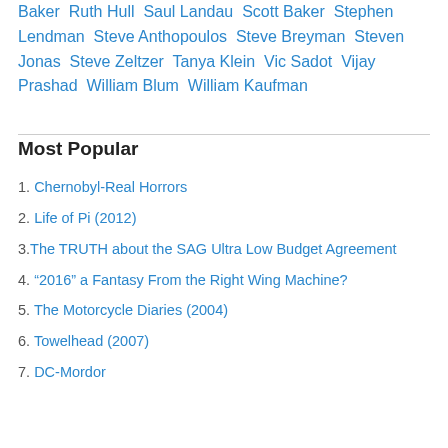Baker  Ruth Hull  Saul Landau  Scott Baker  Stephen Lendman  Steve Anthopoulos  Steve Breyman  Steven Jonas  Steve Zeltzer  Tanya Klein  Vic Sadot  Vijay Prashad  William Blum  William Kaufman
Most Popular
1. Chernobyl-Real Horrors
2. Life of Pi (2012)
3.The TRUTH about the SAG Ultra Low Budget Agreement
4. “2016” a Fantasy From the Right Wing Machine?
5. The Motorcycle Diaries (2004)
6. Towelhead (2007)
7. DC-Mordor